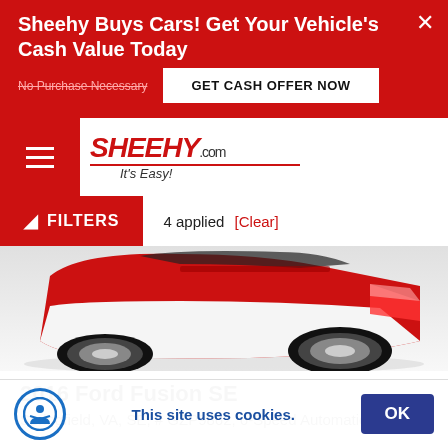Sheehy Buys Cars! Get Your Vehicle's Cash Value Today
No Purchase Necessary
GET CASH OFFER NOW
[Figure (logo): Sheehy.com It's Easy! logo with red text and italic tagline]
FILTERS  |  4 applied  [Clear]
[Figure (photo): Partial rear view of a red and white car on white/grey background]
2016 Ford Fusion SE
Springfield, VA, SE, # GZP9862, 6-Speed Automatic, FWD
This site uses cookies.
OK